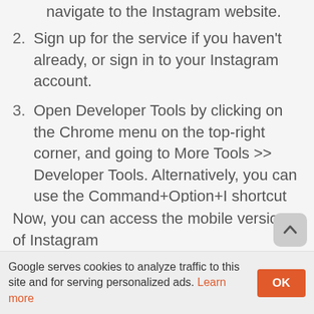navigate to the Instagram website.
2. Sign up for the service if you haven't already, or sign in to your Instagram account.
3. Open Developer Tools by clicking on the Chrome menu on the top-right corner, and going to More Tools >> Developer Tools. Alternatively, you can use the Command+Option+I shortcut (on Mac) or the Ctrl+Shift+I shortcut (on PC) to do the same.
4. Click on the Toggle Device toolbar on the top-left corner of the Developer Tools window to enable the Device mode.
Now, you can access the mobile version of Instagram
Google serves cookies to analyze traffic to this site and for serving personalized ads. Learn more